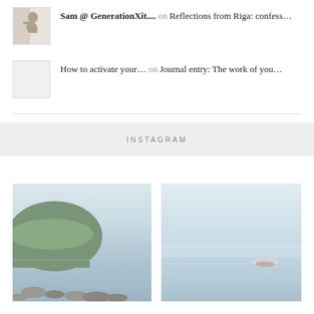Sam @ GenerationXit.... on Reflections from Riga: confess...
How to activate your... on Journal entry: The work of you...
INSTAGRAM
[Figure (photo): Misty lake scene with reeds and rocky shore in the foreground, hazy sky above calm water]
[Figure (photo): Misty open water with a single small boat in the distance, very light hazy sky]